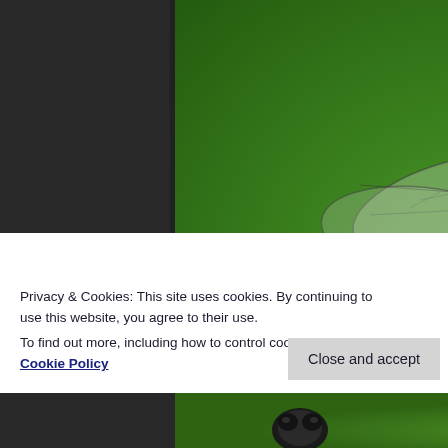[Figure (photo): Close-up macro photograph of a dragonfly perched on a stick/twig against a blurred green background. The dragonfly has transparent wings with dark veining, and a yellow-orange abdomen with black markings. The stick runs diagonally from upper right to lower right of the frame.]
Privacy & Cookies: This site uses cookies. By continuing to use this website, you agree to their use.
To find out more, including how to control cookies, see here: Cookie Policy
[Figure (photo): Partial view of another insect (appears to be a beetle or bug) on green foliage, visible at the very bottom of the page.]